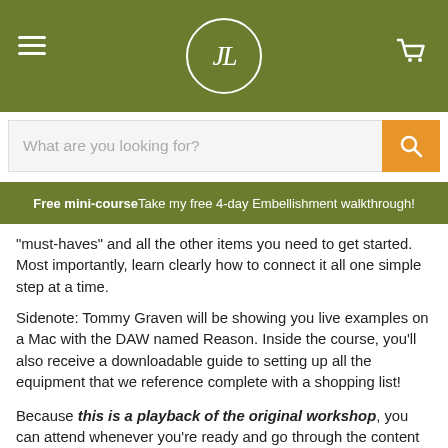JL — Native Flute Academy header with hamburger menu and cart icon
[Figure (screenshot): Search bar with placeholder 'What are you looking for?' and orange search button]
Free mini-course Take my free 4-day Embellishment walkthrough!
"must-haves" and all the other items you need to get started. Most importantly, learn clearly how to connect it all one simple step at a time.
Sidenote: Tommy Graven will be showing you live examples on a Mac with the DAW named Reason. Inside the course, you'll also receive a downloadable guide to setting up all the equipment that we reference complete with a shopping list!
Because this is a playback of the original workshop, you can attend whenever you're ready and go through the content as much as you'd like!  The workshop playback is roughly 90 minutes and is hosted inside the Native Flute Academy.